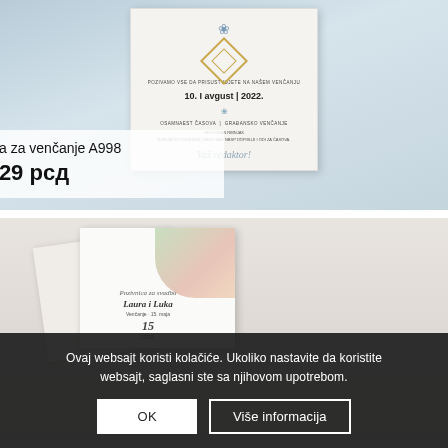[Figure (photo): Wedding invitation card A998 displayed on a blue-grey background, showing decorative text with date 10. I avgust | 2022, geometric gold diamond shape, floral elements]
Pozivnica za venčanje A998
29 рсд
[Figure (photo): Second wedding invitation on grey background showing floral design with names Laura i Luka, with envelopes]
Ovaj websajt koristi kolačiće. Ukoliko nastavite da koristite websajt, saglasni ste sa njihovom upotrebom.
OK
Više informacija